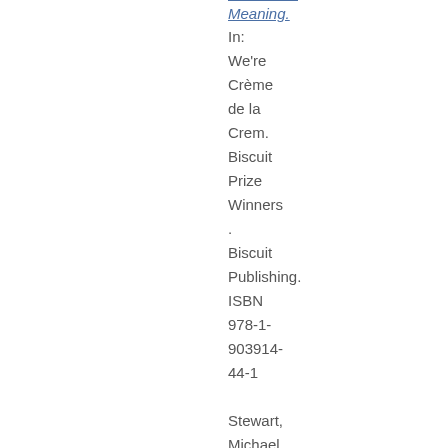Meaning. In: We're Crème de la Crem. Biscuit Prize Winners . Biscuit Publishing. ISBN 978-1-903914-44-1

Stewart, Michael (2007) Third